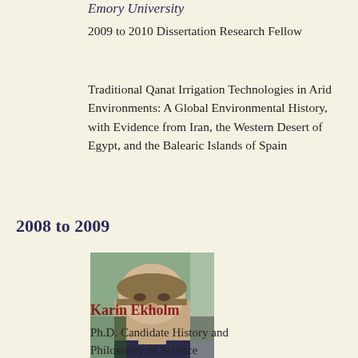Emory University
2009 to 2010 Dissertation Research Fellow
Traditional Qanat Irrigation Technologies in Arid Environments: A Global Environmental History, with Evidence from Iran, the Western Desert of Egypt, and the Balearic Islands of Spain
2008 to 2009
[Figure (photo): Headshot photo of Karin Ekholm]
Karin Ekholm
Ph.D. Candidate History and Philosophy of Science Department Indiana University